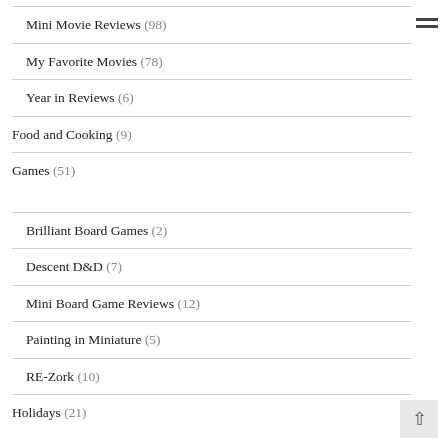Mini Movie Reviews (98)
My Favorite Movies (78)
Year in Reviews (6)
Food and Cooking (9)
Games (51)
Brilliant Board Games (2)
Descent D&D (7)
Mini Board Game Reviews (12)
Painting in Miniature (5)
RE-Zork (10)
Holidays (21)